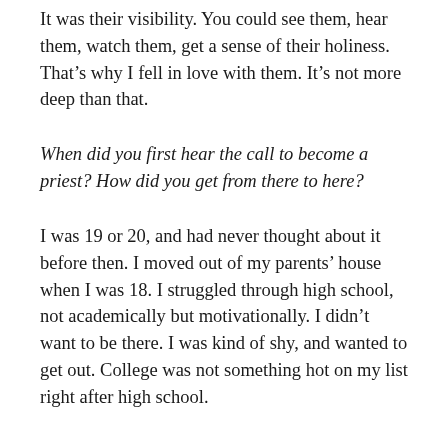It was their visibility. You could see them, hear them, watch them, get a sense of their holiness. That’s why I fell in love with them. It’s not more deep than that.
When did you first hear the call to become a priest? How did you get from there to here?
I was 19 or 20, and had never thought about it before then. I moved out of my parents’ house when I was 18. I struggled through high school, not academically but motivationally. I didn’t want to be there. I was kind of shy, and wanted to get out. College was not something hot on my list right after high school.